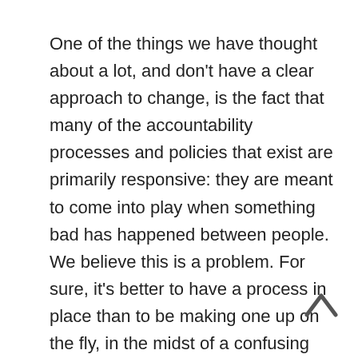One of the things we have thought about a lot, and don't have a clear approach to change, is the fact that many of the accountability processes and policies that exist are primarily responsive: they are meant to come into play when something bad has happened between people. We believe this is a problem. For sure, it's better to have a process in place than to be making one up on the fly, in the midst of a confusing and harmful situation. But if we want to really create a world in which sexual harm in particular is not part of our movements or our lives, we need practices in place that make it impossible or very hard for people to